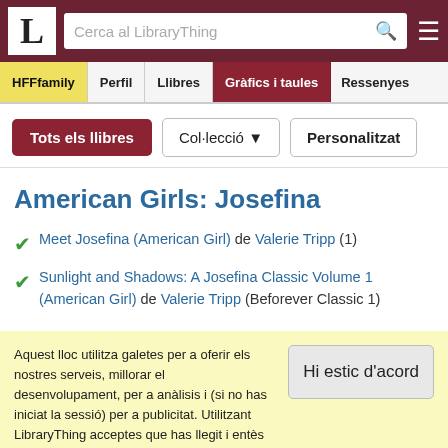LibraryThing – Cerca al LibraryThing – HFFfamily – Perfil – Llibres – Gràfics i taules – Ressenyes
Tots els llibres | Col·lecció ▼ | Personalitzat
American Girls: Josefina
Meet Josefina (American Girl) de Valerie Tripp (1)
Sunlight and Shadows: A Josefina Classic Volume 1 (American Girl) de Valerie Tripp (Beforever Classic 1)
Aquest lloc utilitza galetes per a oferir els nostres serveis, millorar el desenvolupament, per a anàlisis i (si no has iniciat la sessió) per a publicitat. Utilitzant LibraryThing acceptes que has llegit i entès els nostres Termes de servei i política de privacitat. L'ús que facis del lloc i dels seus serveis està subjecte a aquestes polítiques i termes.
Hi estic d'acord